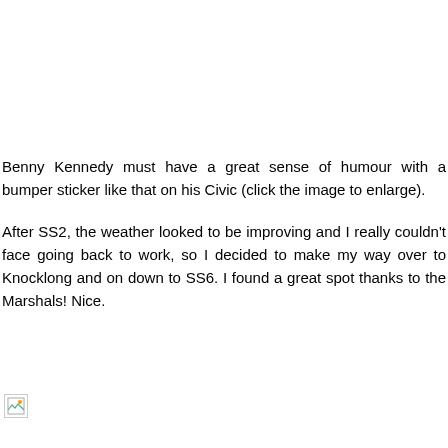Benny Kennedy must have a great sense of humour with a bumper sticker like that on his Civic (click the image to enlarge).
After SS2, the weather looked to be improving and I really couldn't face going back to work, so I decided to make my way over to Knocklong and on down to SS6. I found a great spot thanks to the Marshals! Nice.
[Figure (photo): Partially loaded image placeholder shown at the bottom of the page]